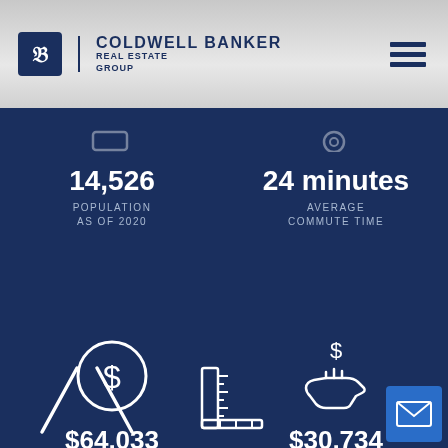[Figure (logo): Coldwell Banker Real Estate Group logo with hamburger menu icon on grey gradient header]
14,526
POPULATION AS OF 2020
24 minutes
AVERAGE COMMUTE TIME
[Figure (infographic): Dollar sign in circle icon representing median household income]
$64,033
MEDIAN HOUSEHOLD INCOME
[Figure (infographic): Hand holding dollar sign icon representing per capita income]
$30,734
PER CAPITA INCOME
[Figure (infographic): Road/highway icon at bottom left, ruler/measurement icon at bottom center, email envelope button at bottom right]